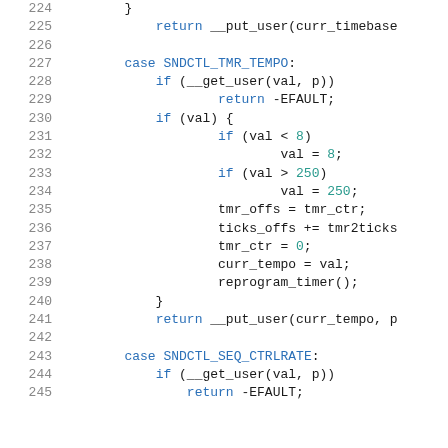[Figure (screenshot): Source code listing showing C code lines 224-245 with syntax highlighting. Line numbers in gray on left, keywords in blue, numbers in teal/cyan, identifiers in dark color.]